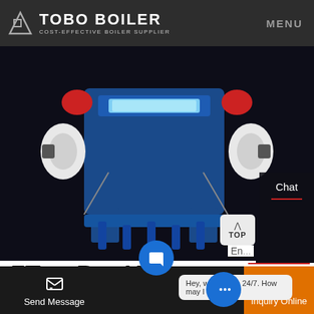TOBO BOILER — COST-EFFECTIVE BOILER SUPPLIER | MENU
[Figure (photo): Industrial steam boiler unit in blue and white, close-up view showing mechanical components, on dark background]
Chat
En...
Contact
7Ton Per Hour Steam Boiler Supplier In Myanmar
Send Message
Hey, we are live 24/7. How may I help you?
Inquiry Online